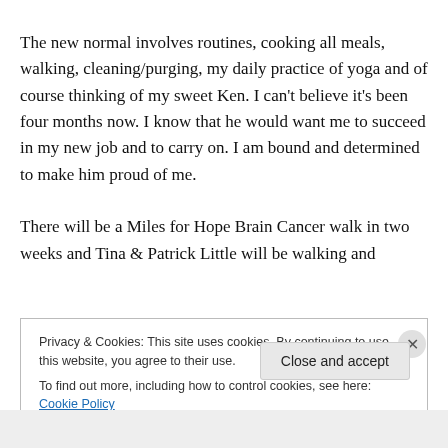The new normal involves routines, cooking all meals, walking, cleaning/purging, my daily practice of yoga and of course thinking of my sweet Ken. I can't believe it's been four months now. I know that he would want me to succeed in my new job and to carry on. I am bound and determined to make him proud of me.

There will be a Miles for Hope Brain Cancer walk in two weeks and Tina & Patrick Little will be walking and
Privacy & Cookies: This site uses cookies. By continuing to use this website, you agree to their use.
To find out more, including how to control cookies, see here: Cookie Policy
Close and accept